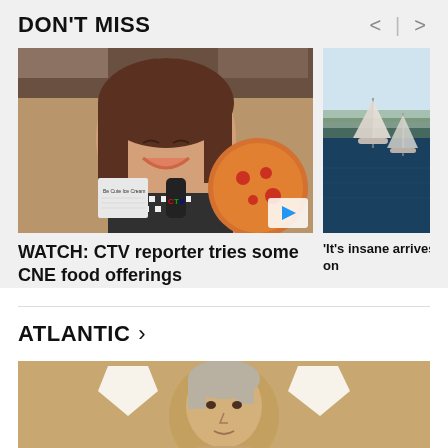DON'T MISS
[Figure (photo): CTV reporter holding food items outside, smiling, holding a CTV microphone, with pizza visible in background. Blue play button overlay.]
WATCH: CTV reporter tries some CNE food offerings
[Figure (photo): Aerial or distant view of sailboats on blue water with land in background.]
'It's insane arrives on
ATLANTIC >
[Figure (photo): Person with short grey/blonde hair against a tan background with white geometric shield shapes.]